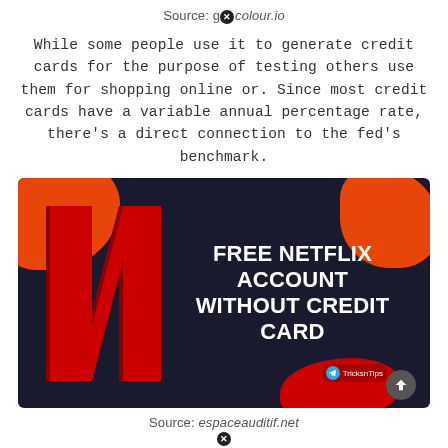Source: g colour.io
While some people use it to generate credit cards for the purpose of testing others use them for shopping online or. Since most credit cards have a variable annual percentage rate, there's a direct connection to the fed's benchmark.
[Figure (illustration): Netflix promotional image on dark navy background with orange and red blobs. Shows Netflix N logo on left and bold white text reading FREE NETFLIX ACCOUNT WITHOUT CREDIT CARD. Telegram badge and scroll button in lower right.]
Source: espaceauditif.net